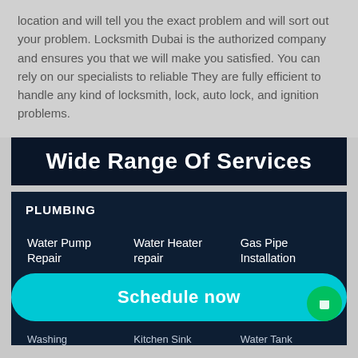location and will tell you the exact problem and will sort out your problem. Locksmith Dubai is the authorized company and ensures you that we will make you satisfied. You can rely on our specialists to reliable They are fully efficient to handle any kind of locksmith, lock, auto lock, and ignition problems.
Wide Range Of Services
PLUMBING
Water Pump Repair
Water Heater repair
Gas Pipe Installation
Water Leakage Repair
Bathtub Replacement
Drain Cleaning Service
Washing
Kitchen Sink
Water Tank
Schedule now